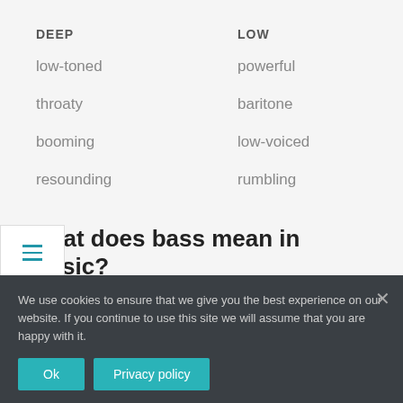DEEP
LOW
low-toned
powerful
throaty
baritone
booming
low-voiced
resounding
rumbling
What does bass mean in music?
low in pitch; of the lowest pitch or range: a bass voice; a bass instrument. of or relating to the lowest part in
We use cookies to ensure that we give you the best experience on our website. If you continue to use this site we will assume that you are happy with it.
Ok
Privacy policy